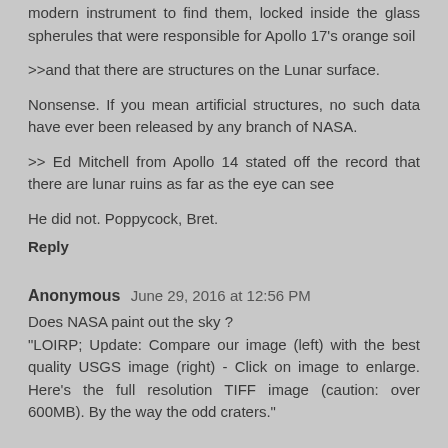modern instrument to find them, locked inside the glass spherules that were responsible for Apollo 17's orange soil
>>and that there are structures on the Lunar surface.
Nonsense. If you mean artificial structures, no such data have ever been released by any branch of NASA.
>> Ed Mitchell from Apollo 14 stated off the record that there are lunar ruins as far as the eye can see
He did not. Poppycock, Bret.
Reply
Anonymous  June 29, 2016 at 12:56 PM
Does NASA paint out the sky ? "LOIRP; Update: Compare our image (left) with the best quality USGS image (right) - Click on image to enlarge. Here's the full resolution TIFF image (caution: over 600MB). By the way the odd craters."